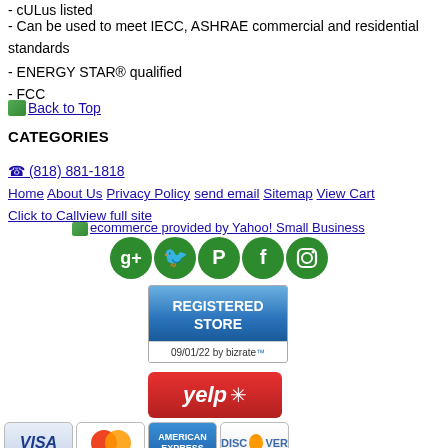- cULus listed
- Can be used to meet IECC, ASHRAE commercial and residential standards
- ENERGY STAR® qualified
- FCC
Back to Top
CATEGORIES
☎ (818) 881-1818
Home About Us Privacy Policy send email Sitemap View Cart Click to Call view full site
ecommerce provided by Yahoo! Small Business
[Figure (infographic): Social media icons: Google+, Twitter, Pinterest, Facebook, Instagram — green circles]
[Figure (infographic): Bizrate Registered Store badge dated 09/01/22]
[Figure (logo): Yelp red button logo]
[Figure (infographic): Credit card icons: Visa, MasterCard, American Express, Discover]